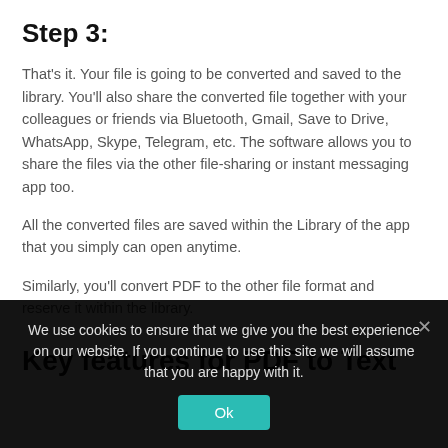Step 3:
That's it. Your file is going to be converted and saved to the library. You'll also share the converted file together with your colleagues or friends via Bluetooth, Gmail, Save to Drive, WhatsApp, Skype, Telegram, etc. The software allows you to share the files via the other file-sharing or instant messaging app too.
All the converted files are saved within the Library of the app that you simply can open anytime.
Similarly, you'll convert PDF to the other file format and reserve it within the library.
Key features for PDF to Text
We use cookies to ensure that we give you the best experience on our website. If you continue to use this site we will assume that you are happy with it.